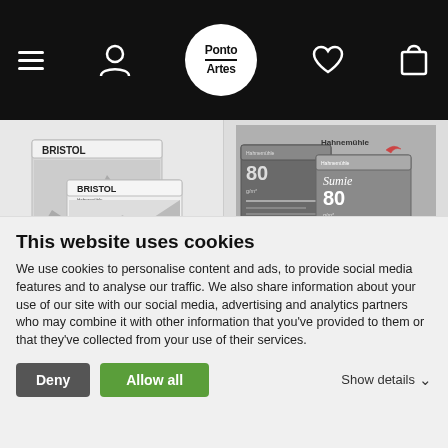Ponto Artes – navigation bar with menu, user, logo, wishlist, cart icons
[Figure (photo): Hahnemuhle Bristol Pad product image showing two sketchpad covers with city sketch artwork]
[Figure (photo): Hahnemuhle paper pad product image showing Sumie series pads with bird/bamboo artwork and Hahnemuhle logo]
Bristol Pad -
Hahnemuhle Paper
This website uses cookies
We use cookies to personalise content and ads, to provide social media features and to analyse our traffic. We also share information about your use of our site with our social media, advertising and analytics partners who may combine it with other information that you've provided to them or that they've collected from your use of their services.
Deny | Allow all | Show details